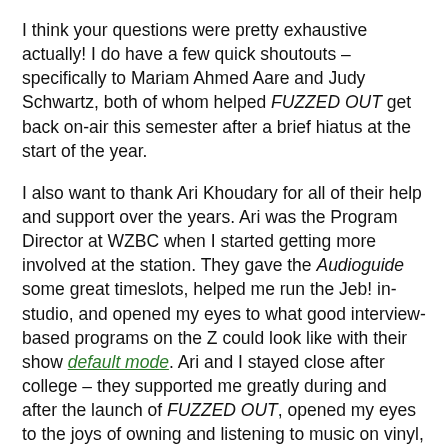I think your questions were pretty exhaustive actually! I do have a few quick shoutouts – specifically to Mariam Ahmed Aare and Judy Schwartz, both of whom helped FUZZED OUT get back on-air this semester after a brief hiatus at the start of the year.
I also want to thank Ari Khoudary for all of their help and support over the years. Ari was the Program Director at WZBC when I started getting more involved at the station. They gave the Audioguide some great timeslots, helped me run the Jeb! in-studio, and opened my eyes to what good interview-based programs on the Z could look like with their show default mode. Ari and I stayed close after college – they supported me greatly during and after the launch of FUZZED OUT, opened my eyes to the joys of owning and listening to music on vinyl, and helped me get a basic foothold in and understanding of the Boston music scene when I was just starting out. Ari and I are no longer close, but both FUZZED OUT and my overall love for radio would not be the same